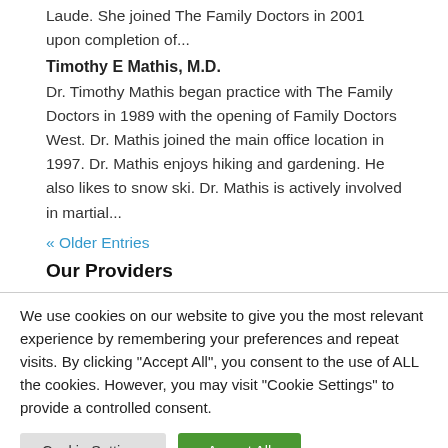Laude. She joined The Family Doctors in 2001 upon completion of...
Timothy E Mathis, M.D.
Dr. Timothy Mathis began practice with The Family Doctors in 1989 with the opening of Family Doctors West. Dr. Mathis joined the main office location in 1997. Dr. Mathis enjoys hiking and gardening. He also likes to snow ski. Dr. Mathis is actively involved in martial...
« Older Entries
Our Providers
We use cookies on our website to give you the most relevant experience by remembering your preferences and repeat visits. By clicking "Accept All", you consent to the use of ALL the cookies. However, you may visit "Cookie Settings" to provide a controlled consent.